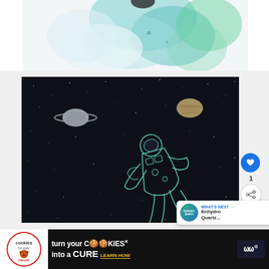[Figure (illustration): Partial watercolor illustration showing teal/green planet or nebula shapes on white background, cropped at top]
[Figure (illustration): Dark space scene illustration with floating astronaut in teal outline, Saturn-like planet on left, Jupiter-like planet on upper right, white stars scattered throughout, on deep dark navy background]
[Figure (other): Blue circular heart/like button with heart icon, showing count of 1 below it, and a share button below that]
[Figure (other): What's Next card showing Enhydro Quartz thumbnail and text 'WHAT'S NEXT → Enhydro Quartz...']
[Figure (other): Advertisement banner: Cookies for Kids Cancer - turn your COOKIES into a CURE LEARN HOW, with Monocle app logo on right, close X button, black background]